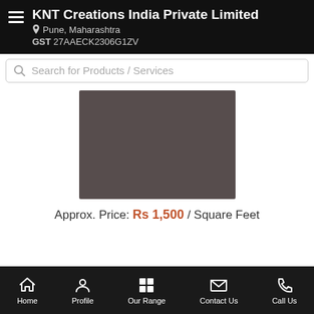KNT Creations India Private Limited
Pune, Maharashtra
GST 27AAECK2306G1ZV
Search for Products / Services
[Figure (photo): Dark brownish-gray product image placeholder]
Approx. Price: Rs 1,500 / Square Feet
Home | Profile | Our Range | Contact Us | Call Us